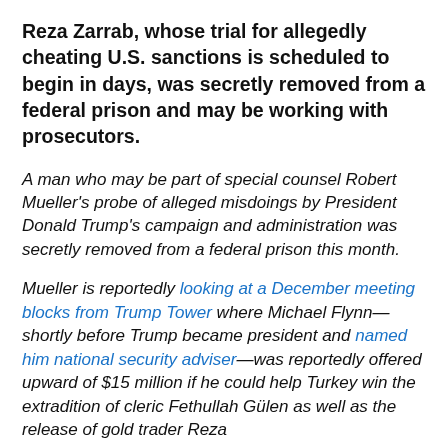Reza Zarrab, whose trial for allegedly cheating U.S. sanctions is scheduled to begin in days, was secretly removed from a federal prison and may be working with prosecutors.
A man who may be part of special counsel Robert Mueller's probe of alleged misdoings by President Donald Trump's campaign and administration was secretly removed from a federal prison this month.
Mueller is reportedly looking at a December meeting blocks from Trump Tower where Michael Flynn—shortly before Trump became president and named him national security adviser—was reportedly offered upward of $15 million if he could help Turkey win the extradition of cleric Fethullah Gülen as well as the release of gold trader Reza